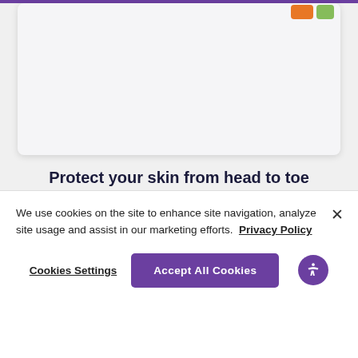[Figure (screenshot): Light gray card/panel area at the top of the page, partially visible, with colored badge indicators at the top right corner.]
Protect your skin from head to toe
1 Min Read
With summertime comes warmer weather and lighter clothing, as
We use cookies on the site to enhance site navigation, analyze site usage and assist in our marketing efforts.  Privacy Policy
Cookies Settings
Accept All Cookies